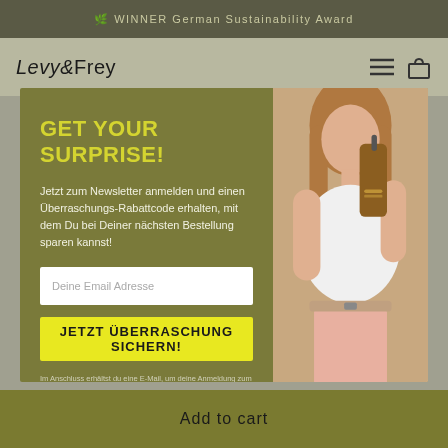🌿 WINNER German Sustainability Award
Levy & Frey
GET YOUR SURPRISE!
Jetzt zum Newsletter anmelden und einen Überraschungs-Rabattcode erhalten, mit dem Du bei Deiner nächsten Bestellung sparen kannst!
Deine Email Adresse
JETZT ÜBERRASCHUNG SICHERN!
Im Anschluss erhältst du eine E-Mail, um deine Anmeldung zum Newsletter zu bestätigen. Du kannst dich jederzeit durch den Abmelde-Link im Newsletter wieder abmelden.
[Figure (photo): Woman holding an amber glass pump bottle product]
Add to cart